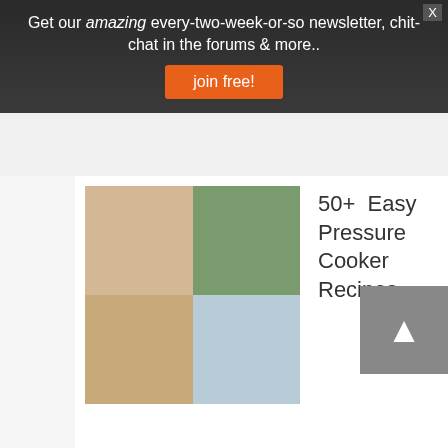Get our amazing every-two-week-or-so newsletter, chit-chat in the forums & more..
join free!
[Figure (photo): Collage of food photos showing pressure cooker meals in a 2x2 grid]
50+ Easy Pressure Cooker Recipes
[Figure (photo): Collage of party food photos showing pressure cooker party recipes in a 2x2 grid]
19+ PARTY Pressure Cooker Recipes!